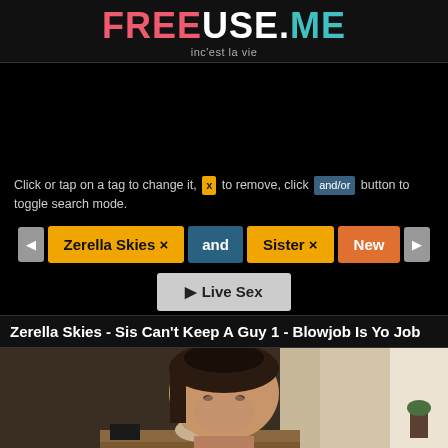FREEUSE.ME — inc'est la vie
[Figure (other): Black advertisement space placeholder]
Click or tap on a tag to change it, [x] to remove, click [and/or] button to toggle search mode.
[Figure (other): Tag search bar with: left arrow, Zerella Skies x tag (yellow), 'and' toggle (teal), Sister x tag (yellow), New button (orange), right arrow]
[Figure (other): Live Sex button]
Zerella Skies - Sis Can't Keep A Guy 1 - Blowjob Is Yo Job
[Figure (photo): Video thumbnail showing a young woman with dark hair indoors]